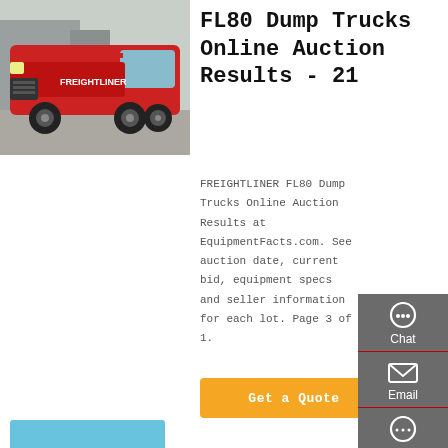[Figure (photo): Red Freightliner FL80 dump truck / semi-truck photographed outdoors]
FL80 Dump Trucks Online Auction Results - 21
FREIGHTLINER FL80 Dump Trucks Online Auction Results at EquipmentFacts.com. See auction date, current bid, equipment specs and seller information for each lot. Page 3 of 1.
[Figure (other): Get a Quote orange button]
[Figure (other): Right sidebar with Chat, Email, Contact, and Top navigation icons on dark grey background]